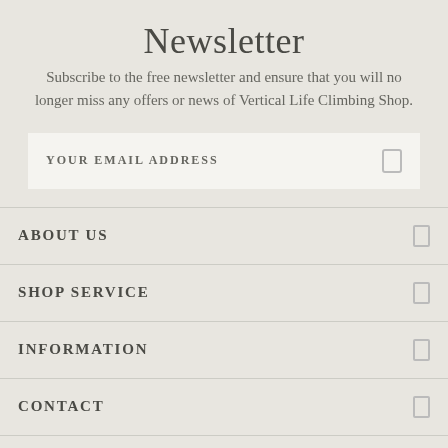Newsletter
Subscribe to the free newsletter and ensure that you will no longer miss any offers or news of Vertical Life Climbing Shop.
YOUR EMAIL ADDRESS
ABOUT US
SHOP SERVICE
INFORMATION
CONTACT